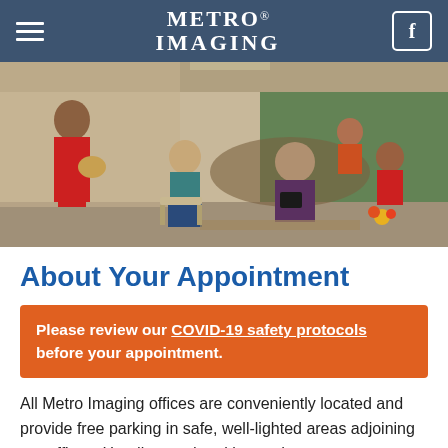Metro Imaging
[Figure (photo): Interior of a Metro Imaging waiting room with patients seated, a woman in red standing near the entrance, and staff at a reception desk in the background surrounded by greenery.]
About Your Appointment
Please review our COVID-19 safety protocols before your appointment.
All Metro Imaging offices are conveniently located and provide free parking in safe, well-lighted areas adjoining our offices. Handicapped parking and